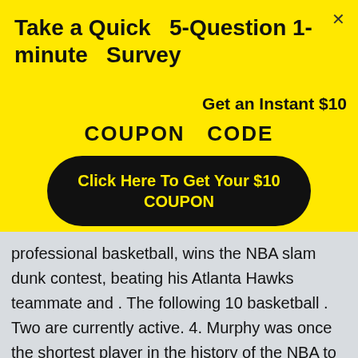[Figure (screenshot): Yellow popup overlay on a webpage with survey CTA and coupon offer]
Take a Quick  5-Question 1-minute  Survey
Get an Instant $10
COUPON  CODE
Click Here To Get Your $10 COUPON
professional basketball, wins the NBA slam dunk contest, beating his Atlanta Hawks teammate and . The following 10 basketball . Two are currently active. 4. Murphy was once the shortest player in the history of the NBA to have ever made it to the Basketball Hall of